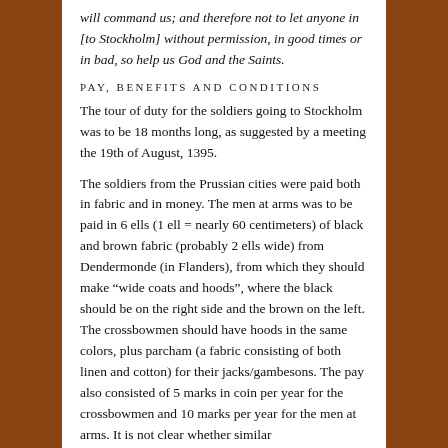will command us; and therefore not to let anyone in [to Stockholm] without permission, in good times or in bad, so help us God and the Saints.
PAY, BENEFITS AND CONDITIONS
The tour of duty for the soldiers going to Stockholm was to be 18 months long, as suggested by a meeting the 19th of August, 1395.
The soldiers from the Prussian cities were paid both in fabric and in money. The men at arms was to be paid in 6 ells (1 ell = nearly 60 centimeters) of black and brown fabric (probably 2 ells wide) from Dendermonde (in Flanders), from which they should make “wide coats and hoods”, where the black should be on the right side and the brown on the left. The crossbowmen should have hoods in the same colors, plus parcham (a fabric consisting of both linen and cotton) for their jacks/gambesons. The pay also consisted of 5 marks in coin per year for the crossbowmen and 10 marks per year for the men at arms. It is not clear whether similar conditions applied to the men at arms from Stockholm.